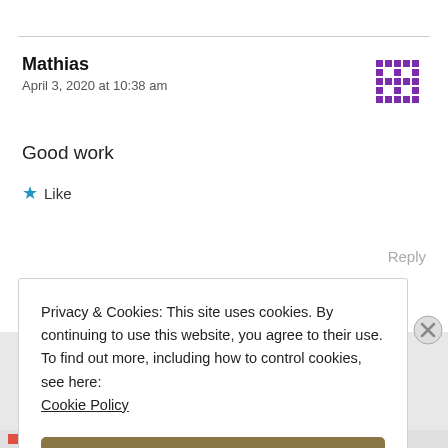Mathias
April 3, 2020 at 10:38 am
Good work
★ Like
Reply
Privacy & Cookies: This site uses cookies. By continuing to use this website, you agree to their use.
To find out more, including how to control cookies, see here: Cookie Policy
Close and accept